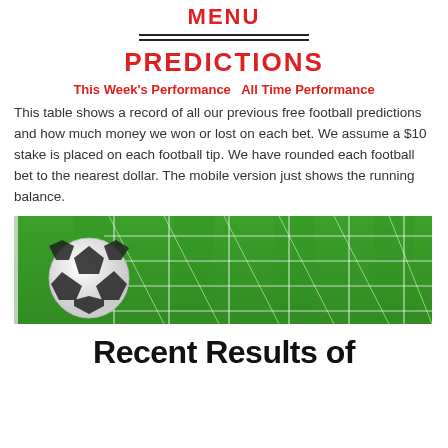MENU
PREDICTIONS
This Week's Performance All Time Performance
This table shows a record of all our previous free football predictions and how much money we won or lost on each bet. We assume a $10 stake is placed on each football tip. We have rounded each football bet to the nearest dollar. The mobile version just shows the running balance.
[Figure (photo): Soccer ball in goal net on green grass field]
Recent Results of